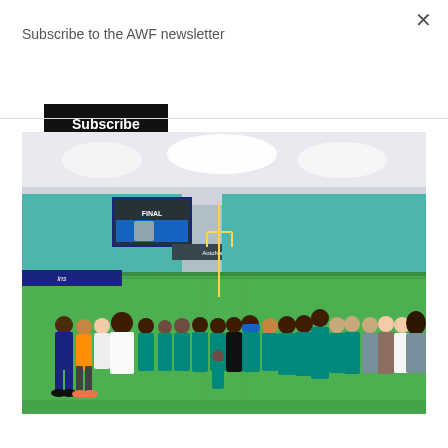Subscribe to the AWF newsletter
Subscribe
[Figure (photo): Group of approximately 25 people posing on the field of a Miami Dolphins stadium (Hard Rock Stadium). Most participants are wearing teal/turquoise t-shirts. The stadium seats are visible in the background with teal colors. A scoreboard in the background shows 'FINAL' and 'AutoNation' signage is visible. The group includes men, women, and children standing on the green turf.]